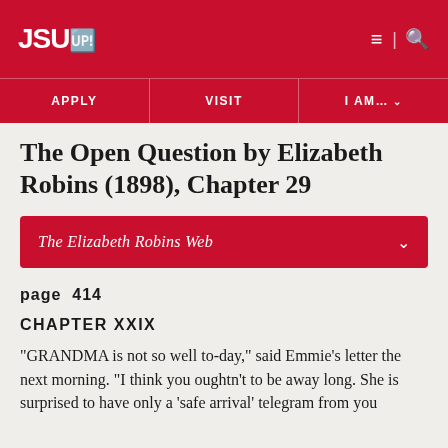JSU | APPLY | VISIT | I AM...
The Open Question by Elizabeth Robins (1898), Chapter 29
The Elizabeth Robins Web
page 414
CHAPTER XXIX
"GRANDMA is not so well to-day," said Emmie's letter the next morning. "I think you oughtn't to be away long. She is surprised to have only a 'safe arrival' telegram from you